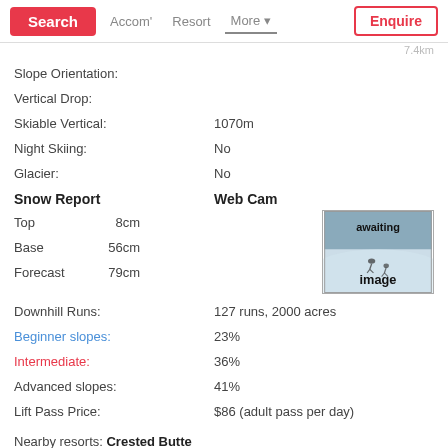Search | Accom' | Resort | More | Enquire
Slope Orientation:
Vertical Drop:
Skiable Vertical: 1070m
Night Skiing: No
Glacier: No
Snow Report / Web Cam
Top 8cm
Base 56cm
Forecast 79cm
[Figure (photo): Webcam placeholder image showing two skiers with text 'awaiting image' overlaid on a snowy slope background]
Downhill Runs: 127 runs, 2000 acres
Beginner slopes: 23%
Intermediate: 36%
Advanced slopes: 41%
Lift Pass Price: $86 (adult pass per day)
Nearby resorts: Crested Butte